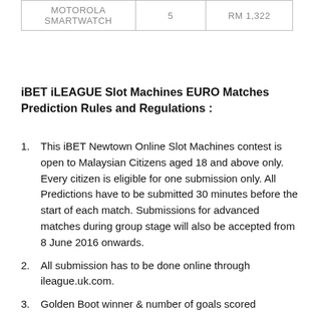|  |  |  |
| --- | --- | --- |
| MOTOROLA
SMARTWATCH | 5 | RM 1,322 |
iBET iLEAGUE Slot Machines EURO Matches Prediction Rules and Regulations :
This iBET Newtown Online Slot Machines contest is open to Malaysian Citizens aged 18 and above only. Every citizen is eligible for one submission only. All Predictions have to be submitted 30 minutes before the start of each match. Submissions for advanced matches during group stage will also be accepted from 8 June 2016 onwards.
All submission has to be done online through ileague.uk.com.
Golden Boot winner & number of goals scored
Tie-Breaker for Top scorers with equal points will be decided based on 3 criteria in the order